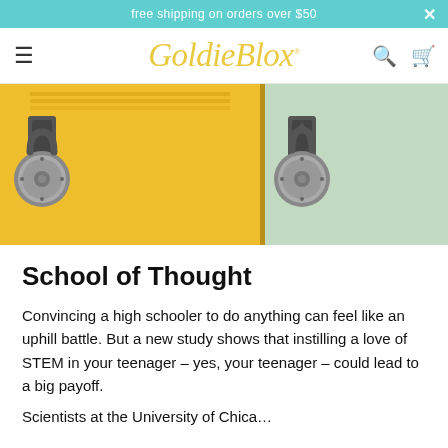free shipping on orders over $50
[Figure (logo): GoldieBlox logo in yellow italic script with registered trademark symbol, flanked by hamburger menu icon, search icon, and cart icon]
[Figure (photo): Close-up photo of school lockers: yellow locker on the left and mint/green locker on the right, each with combination locks]
School of Thought
Convincing a high schooler to do anything can feel like an uphill battle. But a new study shows that instilling a love of STEM in your teenager – yes, your teenager – could lead to a big payoff.
Scientists at the University of Chicago...